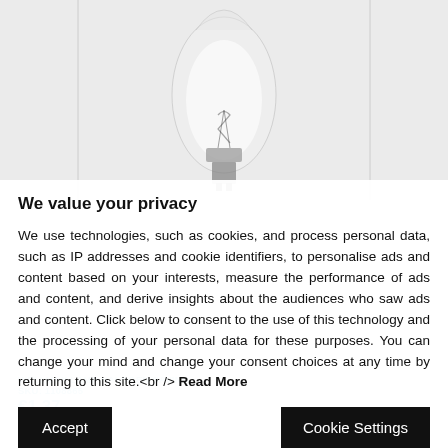[Figure (photo): A clear glass halogen candle bulb on a white/light grey background, showing the internal filament and base.]
We value your privacy
We use technologies, such as cookies, and process personal data, such as IP addresses and cookie identifiers, to personalise ads and content based on your interests, measure the performance of ads and content, and derive insights about the audiences who saw ads and content. Click below to consent to the use of this technology and the processing of your personal data for these purposes. You can change your mind and change your consent choices at any time by returning to this site.<br /> Read More
Accept
Cookie Settings
WELLMAX LAMP HALOGEN SAVING, SKU: 1108865
€1.37